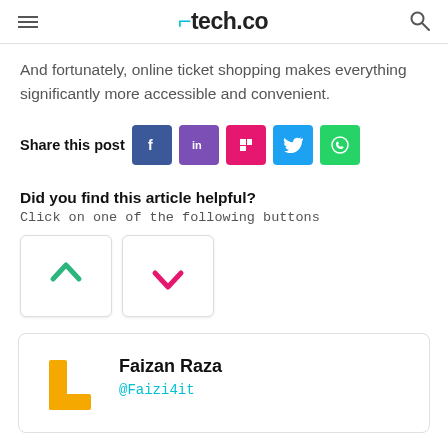tech.co
And fortunately, online ticket shopping makes everything significantly more accessible and convenient.
Share this post
Did you find this article helpful?
Click on one of the following buttons
[Figure (infographic): Thumbs up (green) and thumbs down (pink/red) vote buttons]
Faizan Raza
@Faizi4it